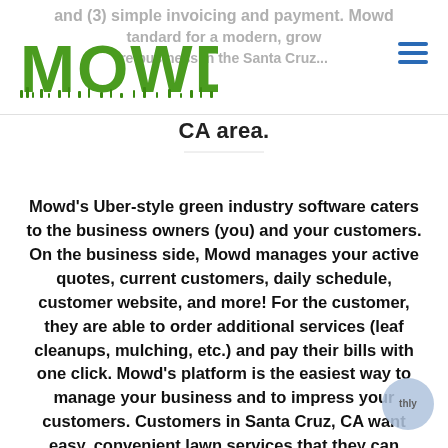MOWD
and (3) simple invoicing and payment. Mowd standard for a modern, grow are business in the Santa Cruz CA area.
Mowd's Uber-style green industry software caters to the business owners (you) and your customers. On the business side, Mowd manages your active quotes, current customers, daily schedule, customer website, and more! For the customer, they are able to order additional services (leaf cleanups, mulching, etc.) and pay their bills with one click. Mowd's platform is the easiest way to manage your business and to impress your customers. Customers in Santa Cruz, CA want easy, convenient lawn services that they can manage and pay for online. In our opinion, the best part about Mowd… no monthly fees! You can sign up today for FREE and use